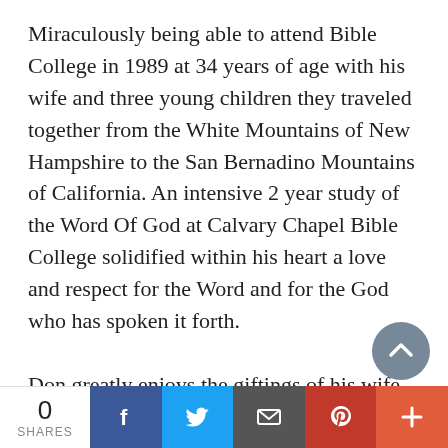Miraculously being able to attend Bible College in 1989 at 34 years of age with his wife and three young children they traveled together from the White Mountains of New Hampshire to the San Bernadino Mountains of California. An intensive 2 year study of the Word Of God at Calvary Chapel Bible College solidified within his heart a love and respect for the Word and for the God who has spoken it forth.

Don greatly enjoys the giftings of his wife and children, loves to  play guitar and other stringed instruments, and is currently reconstructing a home in New Hampshire's'  White Mountains with Diane, his wife of 30 years. Even while
0 SHARES | Facebook | Twitter | Email | Pinterest | More